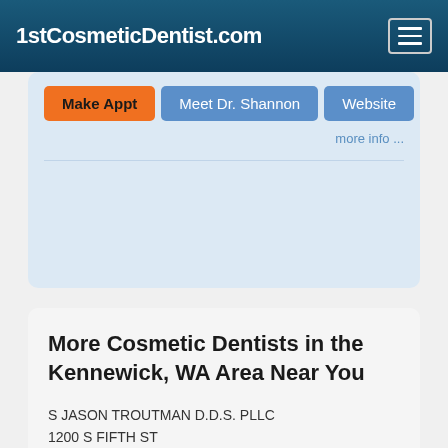1stCosmeticDentist.com
Make Appt   Meet Dr. Shannon   Website
more info ...
More Cosmetic Dentists in the Kennewick, WA Area Near You
S JASON TROUTMAN D.D.S. PLLC
1200 S FIFTH ST
MEBANE, NC, 27302
(919) 563-5939
CLIFTON C SMITH D.D.S. PA
2630 E 7TH ST STE 202
CHARLOTTE, NC, 28204
(704) 333-0030
Doctor - Activate Your Free